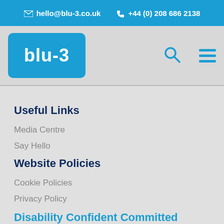✉ hello@blu-3.co.uk  📞 +44 (0) 208 686 2138
[Figure (logo): blu-3 company logo: white bold text 'blu-3' on a blue rounded rectangle background, with search icon and hamburger menu icon to the right]
Useful Links
Media Centre
Say Hello
Website Policies
Cookie Policies
Privacy Policy
Disability Confident Committed